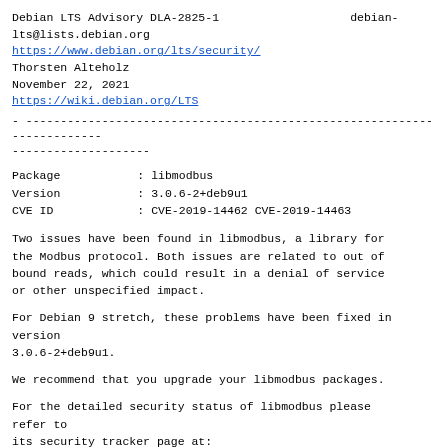Debian LTS Advisory DLA-2825-1                    debian-lts@lists.debian.org
https://www.debian.org/lts/security/
Thorsten Alteholz
November 22, 2021
https://wiki.debian.org/LTS
- ------------------------------------------------------------------------
| Package | : libmodbus |
| Version | : 3.0.6-2+deb9u1 |
| CVE ID | : CVE-2019-14462 CVE-2019-14463 |
Two issues have been found in libmodbus, a library for the Modbus protocol. Both issues are related to out of bound reads, which could result in a denial of service or other unspecified impact.
For Debian 9 stretch, these problems have been fixed in version
3.0.6-2+deb9u1.
We recommend that you upgrade your libmodbus packages.
For the detailed security status of libmodbus please refer to
its security tracker page at:
https://security-tracker.debian.org/tracker/libmodbus